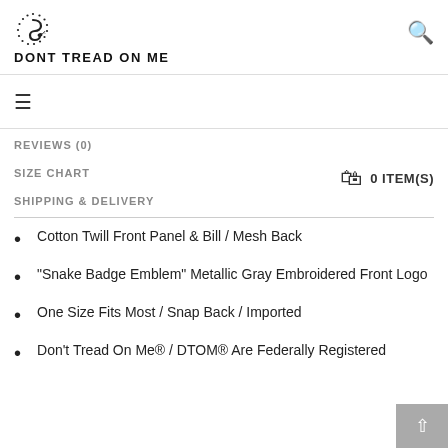[Figure (logo): Don't Tread On Me logo with coiled snake above bold uppercase text DONT TREAD ON ME]
DONT TREAD ON ME
REVIEWS (0)
SIZE CHART
SHIPPING & DELIVERY
Cotton Twill Front Panel & Bill / Mesh Back
"Snake Badge Emblem" Metallic Gray Embroidered Front Logo
One Size Fits Most / Snap Back / Imported
Don't Tread On Me® / DTOM® Are Federally Registered